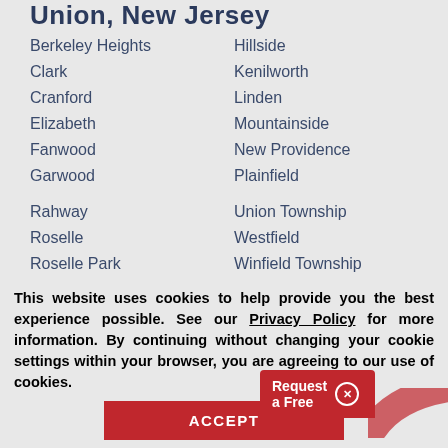Union, New Jersey
Berkeley Heights
Hillside
Clark
Kenilworth
Cranford
Linden
Elizabeth
Mountainside
Fanwood
New Providence
Garwood
Plainfield
Rahway
Union Township
Roselle
Westfield
Roselle Park
Winfield Township
Scotch Plains
[Figure (screenshot): Request a Free button overlay in red with X close button]
This website uses cookies to help provide you the best experience possible. See our Privacy Policy for more information. By continuing without changing your cookie settings within your browser, you are agreeing to our use of cookies.
ACCEPT